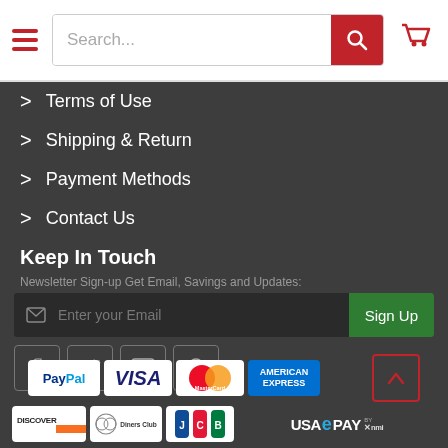Search... [search bar with cart icon]
> Terms of Use
> Shipping & Return
> Payment Methods
> Contact Us
Keep In Touch
Newsletter Sign-up Get Email, Savings and Updates:
Enter your Email [Sign Up button]
[Figure (infographic): Social media icons: Facebook, Twitter, YouTube, Pinterest]
[Figure (infographic): Payment method logos: PayPal, Visa, MasterCard, American Express, Discover, Diners Club, JCB, USAePay by NMI]